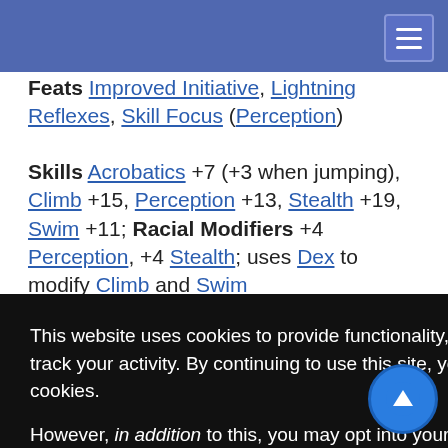[Navigation bar with hamburger menu]
Feats Improved Initiative, Lightning Reflexes, Skill Focus (Perception)
Skills Acrobatics +7 (+3 when jumping), Climb +15, Perception +13, Stealth +19, Swim +11; Racial Modifiers +4 Perception, +4 Stealth; uses Dex to modify Climb and Swim
This website uses cookies to provide functionality, but which are not used to track your activity. By continuing to use this site, you agree to the use of these cookies.

However, in addition to this, you may opt into your activity being tracked in order to help us improve our service.

For more information, please click here
Organization solitary, nest (2-4 swarms), or knot (5-